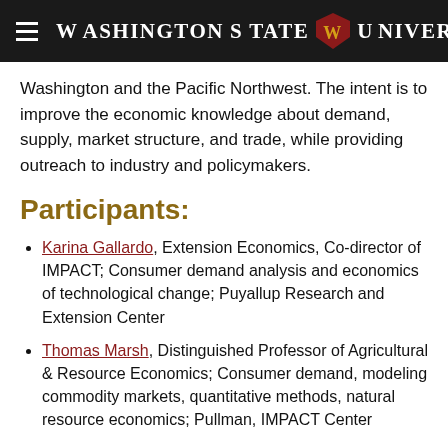Washington State University
Washington and the Pacific Northwest. The intent is to improve the economic knowledge about demand, supply, market structure, and trade, while providing outreach to industry and policymakers.
Participants:
Karina Gallardo, Extension Economics, Co-director of IMPACT; Consumer demand analysis and economics of technological change; Puyallup Research and Extension Center
Thomas Marsh, Distinguished Professor of Agricultural & Resource Economics; Consumer demand, modeling commodity markets, quantitative methods, natural resource economics; Pullman, IMPACT Center